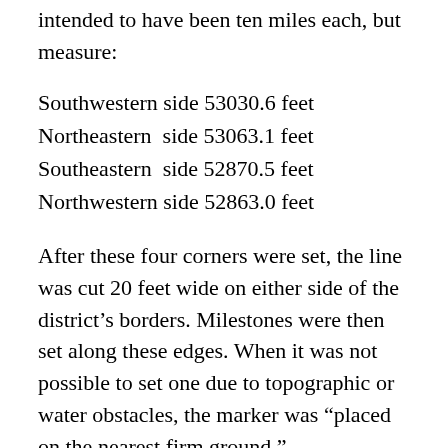intended to have been ten miles each, but measure:
Southwestern side 53030.6 feet
Northeastern  side 53063.1 feet
Southeastern  side 52870.5 feet
Northwestern side 52863.0 feet
After these four corners were set, the line was cut 20 feet wide on either side of the district’s borders. Milestones were then set along these edges. When it was not possible to set one due to topographic or water obstacles, the marker was “placed on the nearest firm ground.”
That spring, Benjamin Ellicott and Joseph Ellicott completed the New York border project, and came back to the Federal project to help complete it. This allowed Benjamin Banneker the opportunity to return home and pay close attention to his declining health.